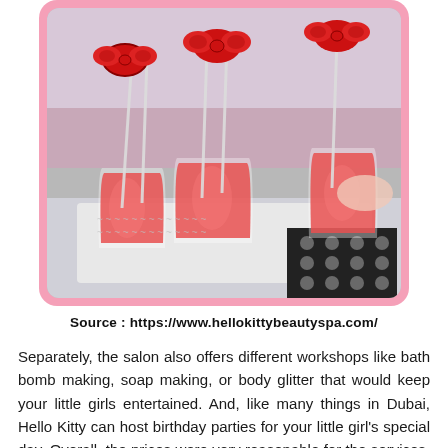[Figure (photo): Photo of pink drinks with Hello Kitty bow straw toppers in clear plastic cups, arranged on a decorative tray with a pink patterned background]
Source: https://www.hellokittybeautyspa.com/
Separately, the salon also offers different workshops like bath bomb making, soap making, or body glitter that would keep your little girls entertained. And, like many things in Dubai, Hello Kitty can host birthday parties for your little girl's special day. Overall, the prices were very reasonable for the services, and Hello Kitty also offered a number of packages, promotions, and specials, such as Pink